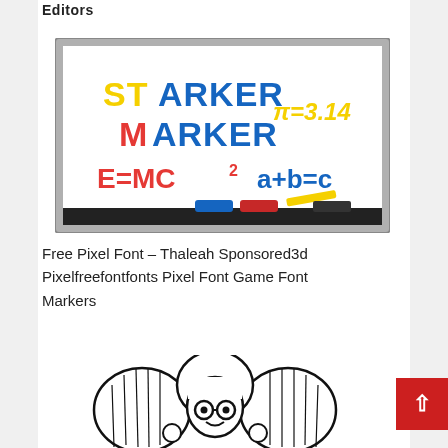Editors
[Figure (illustration): A whiteboard illustration showing the font 'Starker Marker' displayed with colorful marker-style letters. Yellow and blue letters spell 'STARKER MARKER', with 'pi=3.14' in yellow, 'E=MC2' in red, and 'a+b=c' in blue. A marker tray at the bottom shows blue and red markers and an eraser.]
Free Pixel Font – Thaleah Sponsored3d Pixelfreefontfonts Pixel Font Game Font Markers
[Figure (illustration): A black and white cartoon illustration of a girl character with large round hair/wing shapes, glasses, and an expressive pose — partially visible at the bottom of the page.]